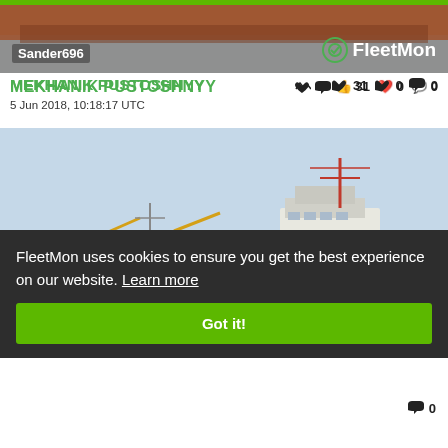[Figure (photo): Top ship photo banner showing hull of a cargo vessel, reddish-brown, with Sander696 username label and FleetMon logo overlay]
MEKHANIK PUSTOSHNYY
👍 31  ❤️ 0  💬 0
5 Jun 2018, 10:18:17 UTC
[Figure (photo): Cargo ship MEKHANIK PUSTOSHNYY photographed from the side, showing yellow cranes/grabs, white superstructure, red communication mast, moored near forested shoreline]
FleetMon uses cookies to ensure you get the best experience on our website. Learn more
Got it!